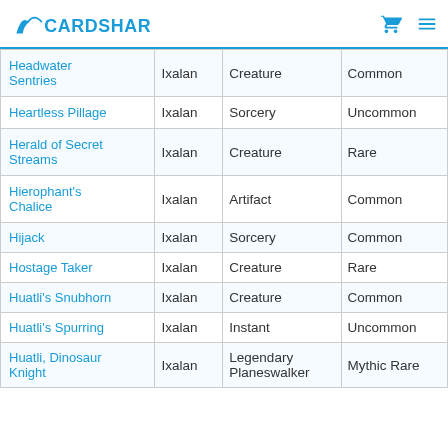CARDSHARK
| Name | Set | Type | Rarity |
| --- | --- | --- | --- |
| Headwater Sentries | Ixalan | Creature | Common |
| Heartless Pillage | Ixalan | Sorcery | Uncommon |
| Herald of Secret Streams | Ixalan | Creature | Rare |
| Hierophant's Chalice | Ixalan | Artifact | Common |
| Hijack | Ixalan | Sorcery | Common |
| Hostage Taker | Ixalan | Creature | Rare |
| Huatli's Snubhorn | Ixalan | Creature | Common |
| Huatli's Spurring | Ixalan | Instant | Uncommon |
| Huatli, Dinosaur Knight | Ixalan | Legendary Planeswalker | Mythic Rare |